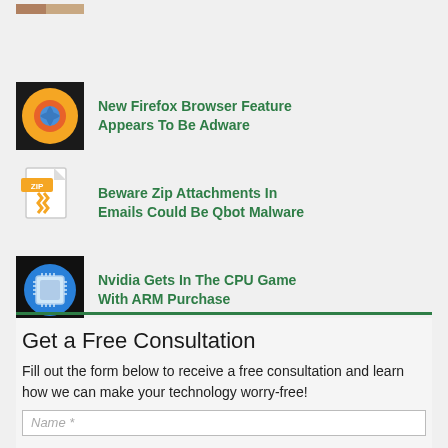[Figure (illustration): Partially cropped thumbnail at top]
New Firefox Browser Feature Appears To Be Adware
Beware Zip Attachments In Emails Could Be Qbot Malware
Nvidia Gets In The CPU Game With ARM Purchase
Get a Free Consultation
Fill out the form below to receive a free consultation and learn how we can make your technology worry-free!
Name *